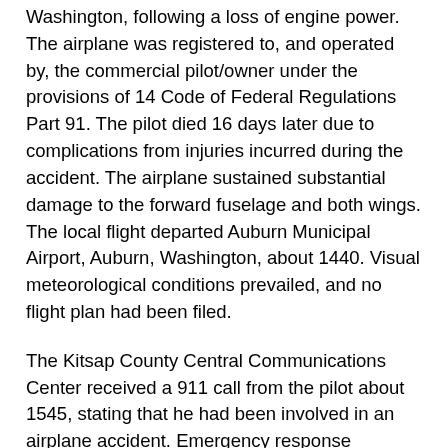Washington, following a loss of engine power. The airplane was registered to, and operated by, the commercial pilot/owner under the provisions of 14 Code of Federal Regulations Part 91. The pilot died 16 days later due to complications from injuries incurred during the accident. The airplane sustained substantial damage to the forward fuselage and both wings. The local flight departed Auburn Municipal Airport, Auburn, Washington, about 1440. Visual meteorological conditions prevailed, and no flight plan had been filed.
The Kitsap County Central Communications Center received a 911 call from the pilot about 1545, stating that he had been involved in an airplane accident. Emergency response personnel responded to the accident site, and located the pilot, who was seated outside and adjacent to the airplane. Due to the nature of his injuries, he could not recall the circumstances of the accident, and reported only that he had left Auburn earlier in the day.
The airplane came to rest inverted, and was located at the edge of a clearing, bound by 50-foot-tall trees. It sustained